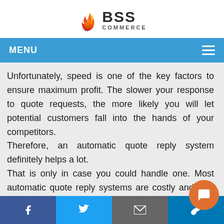[Figure (logo): BSS Commerce logo with flame icon and brand name]
MENU
Unfortunately, speed is one of the key factors to ensure maximum profit. The slower your response to quote requests, the more likely you will let potential customers fall into the hands of your competitors.
Therefore, an automatic quote reply system definitely helps a lot.
That is only in case you could handle one. Most automatic quote reply systems are costly and only appropriate for enterprises or large businesses. An automated notification system would be a much better cost-effective cho…
Social share bar: Facebook, Twitter, Email, Link